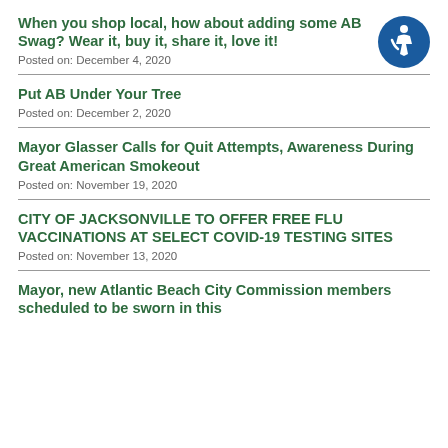When you shop local, how about adding some AB Swag? Wear it, buy it, share it, love it!
Posted on: December 4, 2020
Put AB Under Your Tree
Posted on: December 2, 2020
Mayor Glasser Calls for Quit Attempts, Awareness During Great American Smokeout
Posted on: November 19, 2020
CITY OF JACKSONVILLE TO OFFER FREE FLU VACCINATIONS AT SELECT COVID-19 TESTING SITES
Posted on: November 13, 2020
Mayor, new Atlantic Beach City Commission members scheduled to be sworn in this